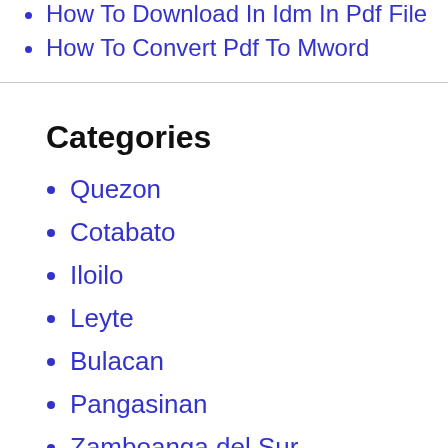How To Download In Idm In Pdf File
How To Convert Pdf To Mword
Categories
Quezon
Cotabato
Iloilo
Leyte
Bulacan
Pangasinan
Zamboanga del Sur